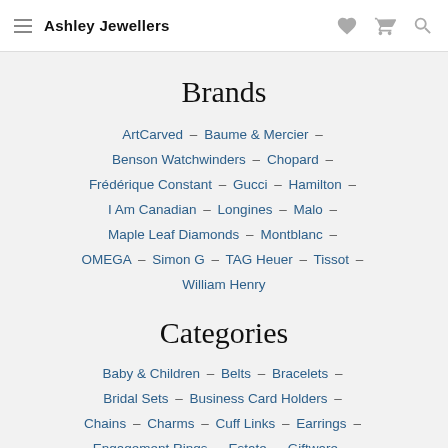Ashley Jewellers
Brands
ArtCarved – Baume & Mercier – Benson Watchwinders – Chopard – Frédérique Constant – Gucci – Hamilton – I Am Canadian – Longines – Malo – Maple Leaf Diamonds – Montblanc – OMEGA – Simon G – TAG Heuer – Tissot – William Henry
Categories
Baby & Children – Belts – Bracelets – Bridal Sets – Business Card Holders – Chains – Charms – Cuff Links – Earrings – Engagement Rings – Estate – Giftware –